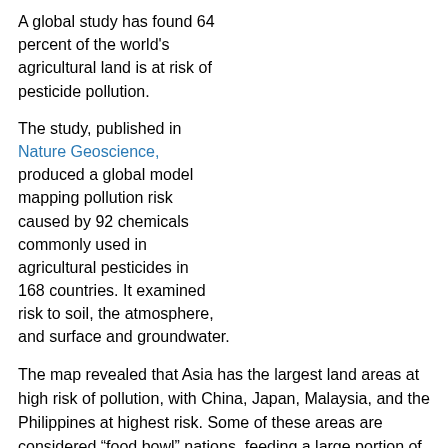A global study has found 64 percent of the world's agricultural land is at risk of pesticide pollution.
The study, published in Nature Geoscience, produced a global model mapping pollution risk caused by 92 chemicals commonly used in agricultural pesticides in 168 countries. It examined risk to soil, the atmosphere, and surface and groundwater.
The map revealed that Asia has the largest land areas at high risk of pollution, with China, Japan, Malaysia, and the Philippines at highest risk. Some of these areas are considered “food bowl” nations, feeding a large portion of the world’s population.
“Our study has revealed 64 percent of the world’s arable land is at risk of pesticide pollution. This is important because the wider scientific literature has found that pesticide pollution can have adverse impacts on